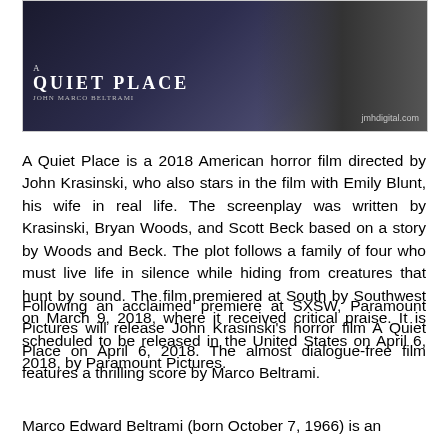[Figure (photo): A promotional image for 'A Quiet Place' featuring the movie title text overlay on a dark background with a figure in shadow. Watermark reads 'jmhdigital.com'.]
A Quiet Place is a 2018 American horror film directed by John Krasinski, who also stars in the film with Emily Blunt, his wife in real life. The screenplay was written by Krasinski, Bryan Woods, and Scott Beck based on a story by Woods and Beck. The plot follows a family of four who must live life in silence while hiding from creatures that hunt by sound. The film premiered at South by Southwest on March 9, 2018, where it received critical praise. It is scheduled to be released in the United States on April 6, 2018, by Paramount Pictures.
Following an acclaimed premiere at SXSW, Paramount Pictures will release John Krasinski's horror film A Quiet Place on April 6, 2018. The almost dialogue-free film features a thrilling score by Marco Beltrami.
Marco Edward Beltrami (born October 7, 1966) is an